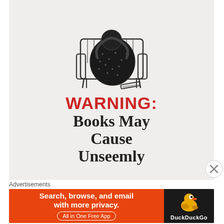[Figure (illustration): Vintage black and white illustration of a person (woman in a dotted dress) slumped deeply in an armchair, absorbed in reading a book, with a book dropped on the floor beside the chair.]
WARNING: Books May Cause Unseemly
Advertisements
[Figure (infographic): DuckDuckGo advertisement banner. Orange background on left with text: 'Search, browse, and email with more privacy. All in One Free App'. Dark background on right with DuckDuckGo duck logo and 'DuckDuckGo' text.]